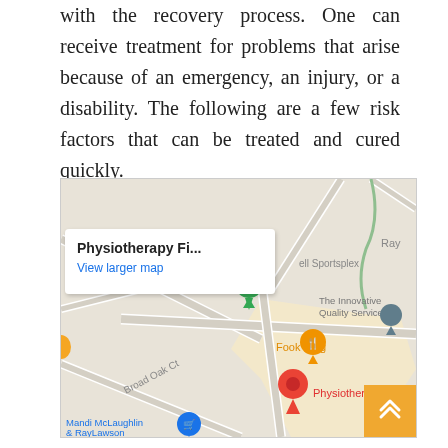with the recovery process. One can receive treatment for problems that arise because of an emergency, an injury, or a disability. The following are a few risk factors that can be treated and cured quickly.
[Figure (map): Google Maps screenshot showing location of 'Physiotherapy First' with a red map pin, nearby landmarks including 'The Innovative Quality Services', 'Fook Hing' restaurant, 'Broad Oak Ct', 'Mandi McLaughlin & RayLawson', a green pin, and an information popup reading 'Physiotherapy Fi... View larger map'.]